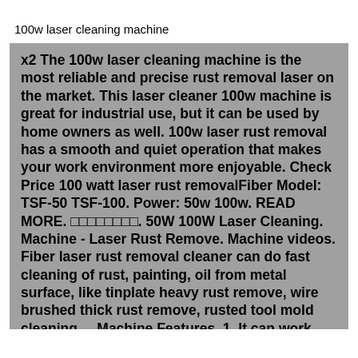100w laser cleaning machine
x2 The 100w laser cleaning machine is the most reliable and precise rust removal laser on the market. This laser cleaner 100w machine is great for industrial use, but it can be used by home owners as well. 100w laser rust removal has a smooth and quiet operation that makes your work environment more enjoyable. Check Price 100 watt laser rust removalFiber Model: TSF-50 TSF-100. Power: 50w 100w. READ MORE. □□□□□□□□. 50W 100W Laser Cleaning. Machine - Laser Rust Remove. Machine videos. Fiber laser rust removal cleaner can do fast cleaning of rust, painting, oil from metal surface, like tinplate heavy rust remove, wire brushed thick rust remove, rusted tool mold cleaning ... Machine Features. 1. It can work offline and can be used immediately after power on. 2. Collimated laser beam output, beam size customizable (default 4mm). 3. The